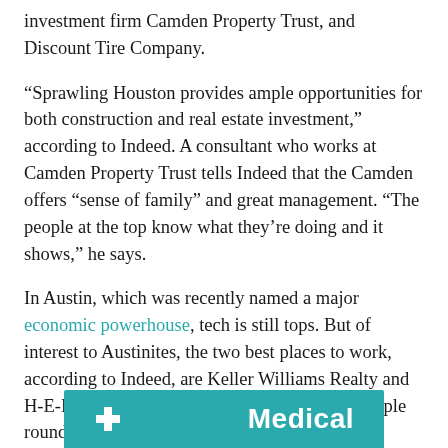investment firm Camden Property Trust, and Discount Tire Company.
“Sprawling Houston provides ample opportunities for both construction and real estate investment,” according to Indeed. A consultant who works at Camden Property Trust tells Indeed that the Camden offers “sense of family” and great management. “The people at the top know what they’re doing and it shows,” he says.
In Austin, which was recently named a major economic powerhouse, tech is still tops. But of interest to Austinites, the two best places to work, according to Indeed, are Keller Williams Realty and H-E-B. Tech titans Facebook, Microsoft, and Apple round out the top five.
[Figure (other): Teal/cyan banner with the word 'Medical' in white bold text and a small icon on the left]